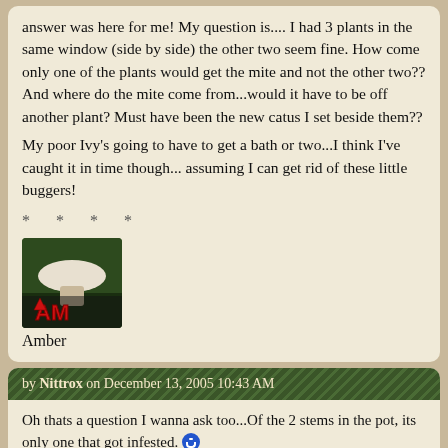answer was here for me! My question is.... I had 3 plants in the same window (side by side) the other two seem fine. How come only one of the plants would get the mite and not the other two?? And where do the mite come from...would it have to be off another plant? Must have been the new catus I set beside them??
My poor Ivy's going to have to get a bath or two...I think I've caught it in time though... assuming I can get rid of these little buggers!
* * * *
[Figure (photo): Avatar image showing a white mushroom on dark background with red 'AM' text overlay]
Amber
by Nittrox on December 13, 2005 10:43 AM
Oh thats a question I wanna ask too...Of the 2 stems in the pot, its only one that got infested.